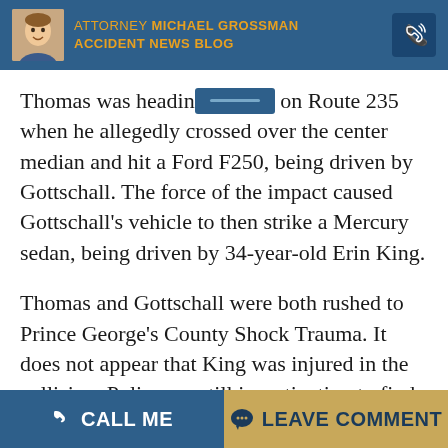ATTORNEY MICHAEL GROSSMAN ACCIDENT NEWS BLOG
Thomas was heading [redacted] on Route 235 when he allegedly crossed over the center median and hit a Ford F250, being driven by Gottschall. The force of the impact caused Gottschall's vehicle to then strike a Mercury sedan, being driven by 34-year-old Erin King.
Thomas and Gottschall were both rushed to Prince George's County Shock Trauma. It does not appear that King was injured in the collision. Police are still investigating to find out what factors may have contributed to the [accident]
CALL ME | LEAVE COMMENT